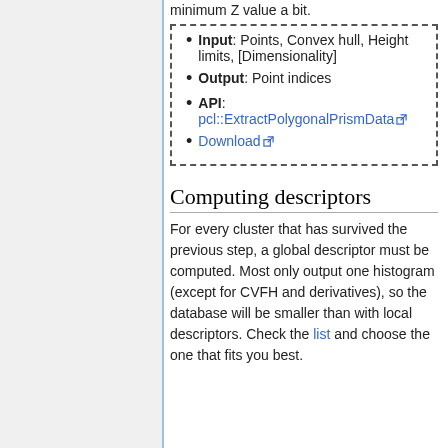minimum Z value a bit.
Input: Points, Convex hull, Height limits, [Dimensionality]
Output: Point indices
API: pcl::ExtractPolygonalPrismData
Download
Computing descriptors
For every cluster that has survived the previous step, a global descriptor must be computed. Most only output one histogram (except for CVFH and derivatives), so the database will be smaller than with local descriptors. Check the list and choose the one that fits you best.